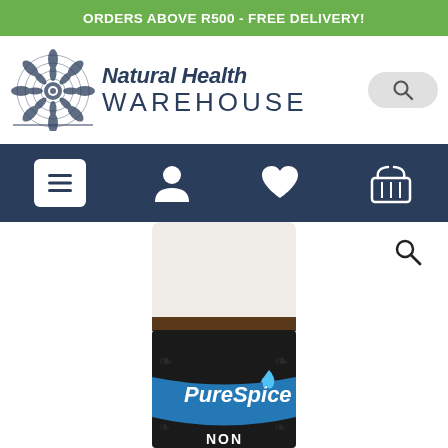ORDERS ABOVE R500 - FREE DELIVERY!
[Figure (logo): Natural Health Warehouse logo with mandala graphic and search button]
[Figure (screenshot): Dark navy navigation bar with hamburger menu, user, heart/wishlist, and shopping basket icons]
[Figure (photo): PureSpice product jar with dark label showing blue stripe and 'PureSpice' branding, top partially visible, with a zoom/search icon in upper right]